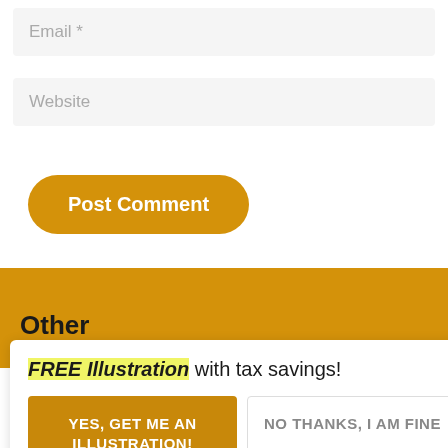[Figure (screenshot): Email input field with placeholder text 'Email *' on a light grey background]
[Figure (screenshot): Website input field with placeholder text 'Website' on a light grey background]
[Figure (screenshot): Golden rounded 'Post Comment' button]
Other
[Figure (screenshot): Popup modal with yellow-highlighted 'FREE Illustration' text, 'with tax savings!' text, a golden 'YES, GET ME AN ILLUSTRATION!' button, and a light grey 'NO THANKS, I AM FINE' button, plus an X close button]